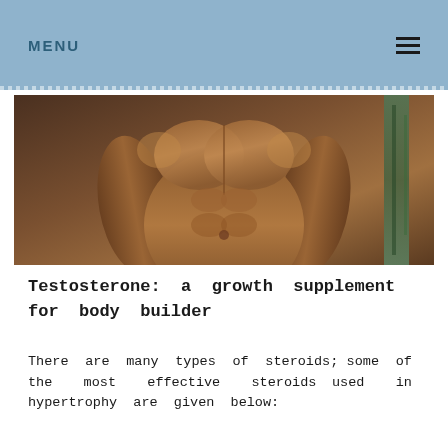MENU
[Figure (photo): Muscular male torso showing defined chest and abdominal muscles, photographed in a gym setting]
Testosterone: a growth supplement for body builder
There are many types of steroids; some of the most effective steroids used in hypertrophy are given below: